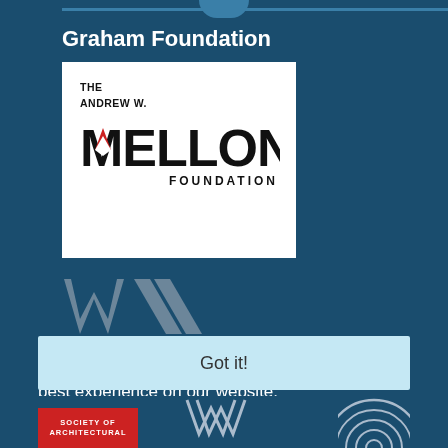Graham Foundation
[Figure (logo): The Andrew W. Mellon Foundation logo — white background with bold black text reading 'THE / ANDREW W. / MELLON / FOUNDATION' with a red chevron accent on the M]
[Figure (logo): WC logo in muted silver/grey lettering]
This website uses cookies to ensure you get the best experience on our website.
Got it!
[Figure (logo): Society of Architectural logo in red background at bottom left]
[Figure (logo): W logo in outline style at bottom center]
[Figure (logo): Circular concentric lines logo at bottom right]